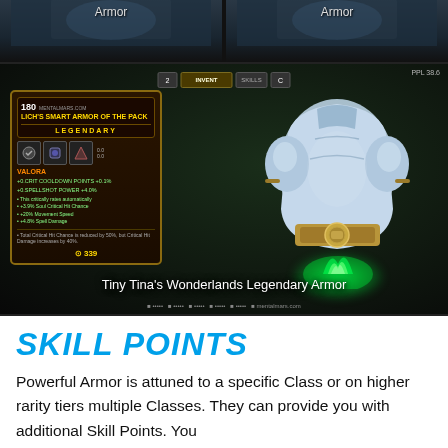[Figure (screenshot): Two small thumbnail images of Armor items from Tiny Tina's Wonderlands game, each labeled 'Armor', shown side by side at the top of the page]
[Figure (screenshot): Screenshot from Tiny Tina's Wonderlands showing a Legendary Armor item 'Lich's Smart Armor of the Pack' with item card on the left displaying stats and a large 3D armor model in the center with a green glowing effect at the bottom. Caption reads 'Tiny Tina's Wonderlands Legendary Armor']
SKILL POINTS
Powerful Armor is attuned to a specific Class or on higher rarity tiers multiple Classes. They can provide you with additional Skill Points. You